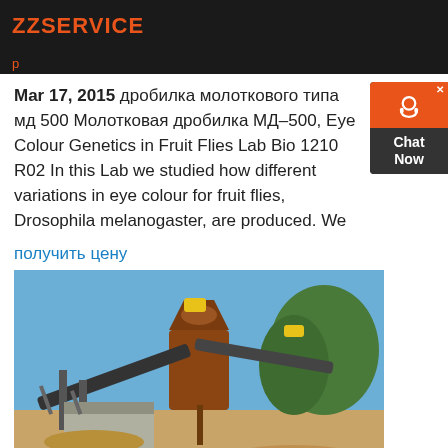ZZSERVICE
р
Mar 17, 2015 дробилка молоткового типа мд 500 Молотковая дробилка МД–500, Eye Colour Genetics in Fruit Flies Lab Bio 1210 R02 In this Lab we studied how different variations in eye colour for fruit flies, Drosophila melanogaster, are produced. We
получить цену
[Figure (photo): Outdoor industrial crusher/mill equipment with conveyor belts, set against trees and blue sky]
Молотковая дробилка